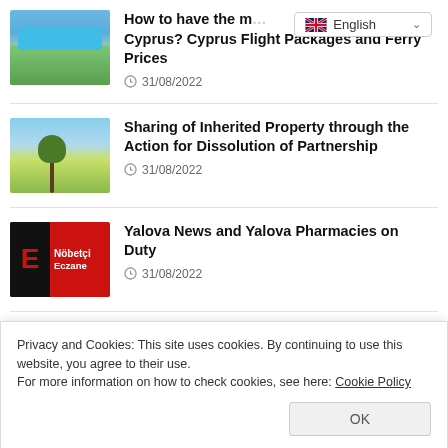[Figure (screenshot): Language selector dropdown showing English with UK flag]
[Figure (photo): Aerial view of resort with pool and green landscape in Cyprus]
How to have the most enjoyable holiday in Cyprus? Cyprus Flight Packages and Ferry Prices
31/08/2022
[Figure (photo): Rural road through green fields with a tree]
Sharing of Inherited Property through the Action for Dissolution of Partnership
31/08/2022
[Figure (logo): Red pharmacy logo with E letter and Nobetci Eczane text]
Yalova News and Yalova Pharmacies on Duty
31/08/2022
Privacy and Cookies: This site uses cookies. By continuing to use this website, you agree to their use.
For more information on how to check cookies, see here: Cookie Policy